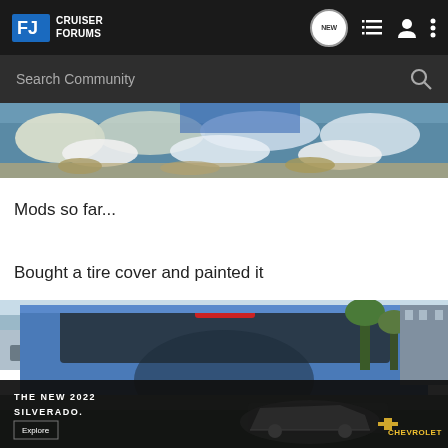Cruiser Forums
[Figure (screenshot): Search Community bar with dark background]
[Figure (photo): Vehicle splashing through water, outdoor scene, top portion cropped]
Mods so far...
Bought a tire cover and painted it
[Figure (photo): Rear view of a blue FJ Cruiser with tire cover, with a Chevrolet Silverado 2022 advertisement overlay at the bottom reading THE NEW 2022 SILVERADO. with Explore button and Chevrolet logo]